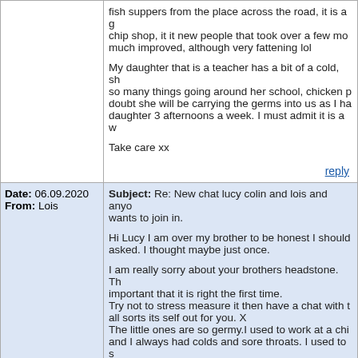fish suppers from the place across the road, it is a good chip shop, it it new people that took over a few months ago, much improved, although very fattening lol

My daughter that is a teacher has a bit of a cold, she has so many things going around her school, chicken pox etc. I doubt she will be carrying the germs into us as I have my daughter 3 afternoons a week. I must admit it is a w...

Take care xx
reply
Date: 06.09.2020
From: Lois
Subject: Re: New chat lucy colin and lois and anyone wants to join in.

Hi Lucy I am over my brother to be honest I should asked. I thought maybe just once.

I am really sorry about your brothers headstone. Th... important that it is right the first time.
Try not to stress measure it then have a chat with t... all sorts its self out for you. X
The little ones are so germy.I used to work at a chi... and I always had colds and sore throats. I used to s... the job.
I guess it is worrying for you that it might be broug...
My youngest son won't bring his two little ones nea... are back at school. I haven't seen them since Febru... I said they will be teenagers before I see them...